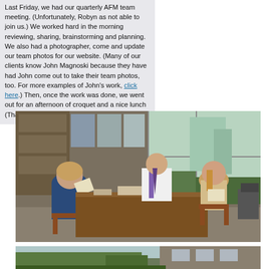Last Friday, we had our quarterly AFM team meeting. (Unfortunately, Robyn as not able to join us.) We worked hard in the morning reviewing, sharing, brainstorming and planning. We also had a photographer, come and update our team photos for our website. (Many of our clients know John Magnoski because they have had John come out to take their team photos, too. For more examples of John's work, click here.) Then, once the work was done, we went out for an afternoon of croquet and a nice lunch (Thank you, Bill and Matt!).
[Figure (photo): Office meeting scene with three people: a woman seated on the left holding papers, a bald man in a white shirt and tie seated behind a large wooden desk, and a woman with long hair seated on the right reading documents. Large windows in the background show a cityscape with trees and a tall glass building.]
[Figure (photo): Outdoor scene showing trees and a building exterior, partially visible at the bottom of the page.]